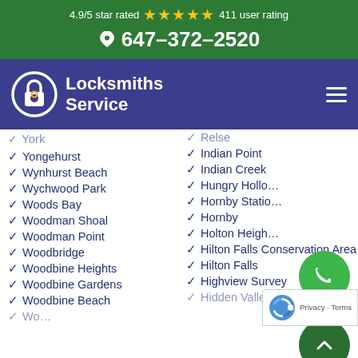4.9/5 star rated ★★★★★ 411 user rating
647-372-2520
[Figure (logo): Locksmiths Service logo with padlock icon on dark blue navigation bar]
York
Yongehurst
Wynhurst Beach
Wychwood Park
Woods Bay
Woodman Shoal
Woodman Point
Woodbridge
Woodbine Heights
Woodbine Gardens
Woodbine Beach
Relse
Indian Point
Indian Creek
Hungry Hollow
Hornby Station
Hornby
Holton Heights
Hilton Falls Conservation Area
Hilton Falls
Highview Survey
Hidden Valley